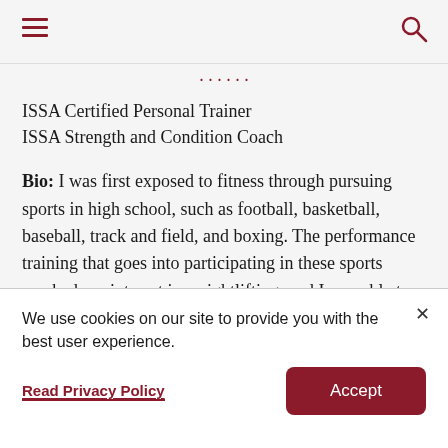≡  🔍
[partial heading cut off at top]
ISSA Certified Personal Trainer
ISSA Strength and Condition Coach
Bio: I was first exposed to fitness through pursuing sports in high school, such as football, basketball, baseball, track and field, and boxing. The performance training that goes into participating in these sports sparked my interest in weightlifting, and I was able to put my passion into practice by training my fellow teammates. After finishing
We use cookies on our site to provide you with the best user experience.
Read Privacy Policy
Accept